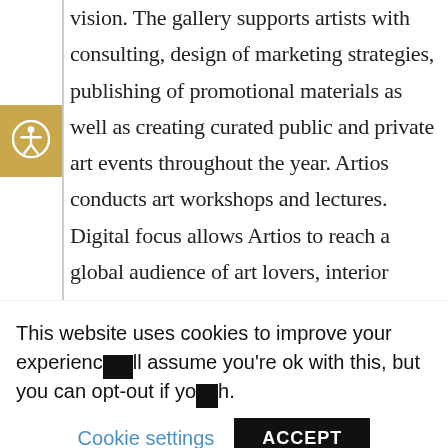vision. The gallery supports artists with consulting, design of marketing strategies, publishing of promotional materials as well as creating curated public and private art events throughout the year. Artios conducts art workshops and lectures. Digital focus allows Artios to reach a global audience of art lovers, interior designers, and collectors alike, curating a gallery that ensures a personal experience for all of our guests. The gallery affiliates with The Pushkin
This website uses cookies to improve your experience. We'll assume you're ok with this, but you can opt-out if you wish.